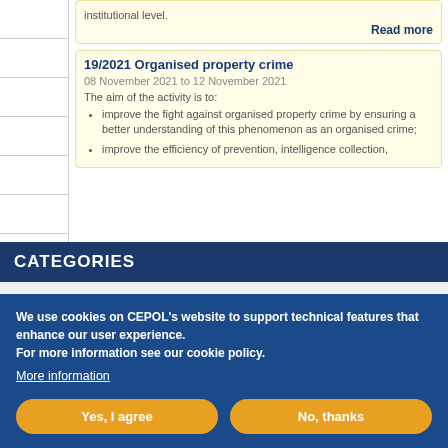institutional level.
Read more
19/2021 Organised property crime
08 November 2021 to 12 November 2021
The aim of the activity is to:
improve the fight against organised property crime by ensuring a better understanding of this phenomenon as an organised crime;
improve the efficiency of prevention, intelligence collection,
CATEGORIES
Cyber-related crime
We use cookies on CEPOL's website to support technical features that enhance our user experience.
For more information see our cookie policy.
More information